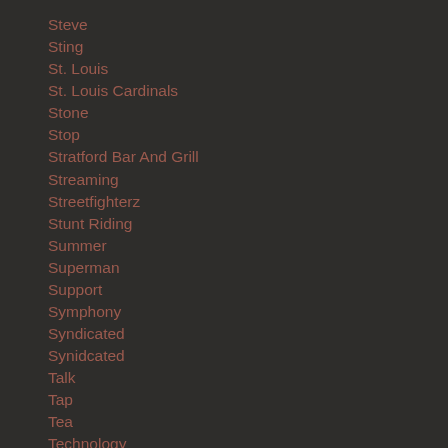Steve
Sting
St. Louis
St. Louis Cardinals
Stone
Stop
Stratford Bar And Grill
Streaming
Streetfighterz
Stunt Riding
Summer
Superman
Support
Symphony
Syndicated
Synidcated
Talk
Tap
Tea
Technology